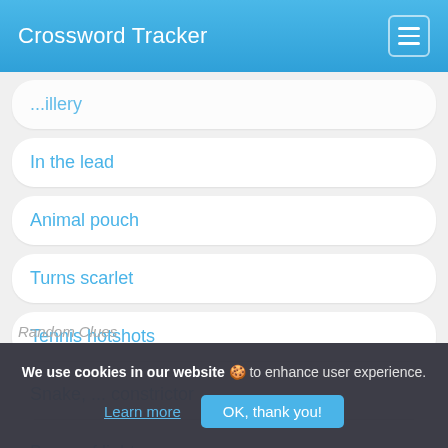Crossword Tracker
...illery
In the lead
Animal pouch
Turns scarlet
Tennis hotshots
Snake, ... constrictor
Beam of light
Mideast native
Random Clues
We use cookies in our website 🍪 to enhance user experience. Learn more  OK, thank you!